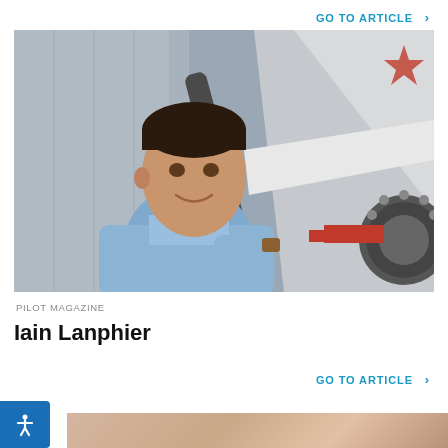GO TO ARTICLE >
[Figure (photo): Young man in a light blue shirt leaning against a small aircraft propeller/engine in a hangar, smiling at the camera]
PILOT MAGAZINE
Iain Lanphier
GO TO ARTICLE >
[Figure (photo): Partial view of another article image at the bottom of the page]